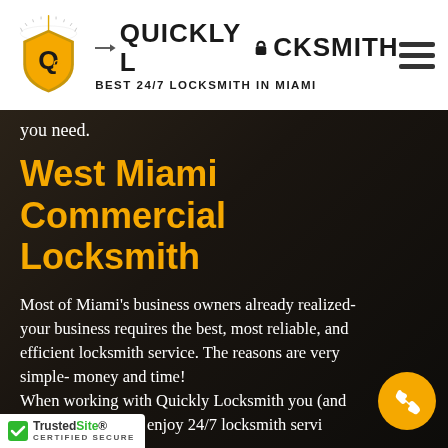[Figure (logo): Quickly Locksmith logo with shield emblem and speedometer arc. Text: QUICKLY LOCKSMITH, BEST 24/7 LOCKSMITH IN MIAMI]
you need.
West Miami Commercial Locksmith
Most of Miami's business owners already realized- your business requires the best, most reliable, and efficient locksmith service. The reasons are very simple - money and time! When working with Quickly Locksmith you (and your business) can enjoy 24/7 locksmith servi...
[Figure (logo): TrustedSite Certified Secure badge in bottom left corner]
[Figure (other): Yellow circular phone call button in bottom right corner]